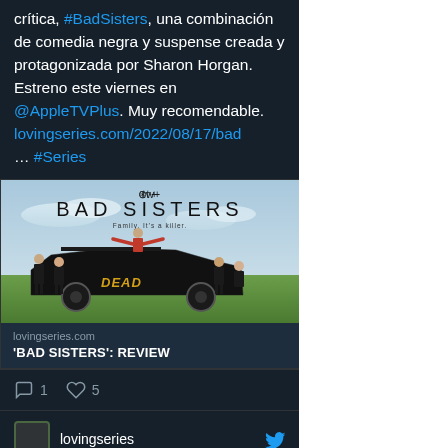crítica, #BadSisters, una combinación de comedia negra y suspense creada y protagonizada por Sharon Horgan. Estreno este viernes en @AppleTVPlus. Muy recomendable. lovingseries.com/2022/08/17/bad … #Series
[Figure (photo): Bad Sisters Apple TV+ promotional image showing five women posed around a black station wagon/hearse with 'DEAD' written on the side, on a green field with blue sky. Text overlay shows apple tv+ logo and BAD SISTERS title with tagline 'Family. It's a killer.']
lovingseries.com
'BAD SISTERS': REVIEW
1  5
lovingseries